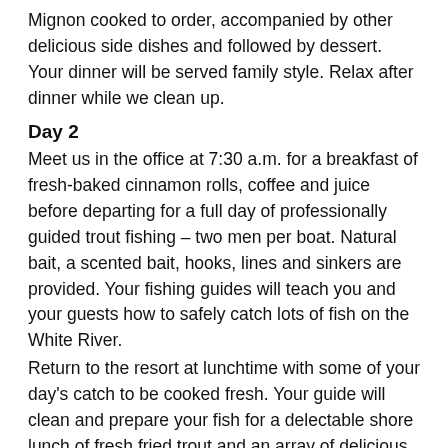Mignon cooked to order, accompanied by other delicious side dishes and followed by dessert. Your dinner will be served family style. Relax after dinner while we clean up.
Day 2
Meet us in the office at 7:30 a.m. for a breakfast of fresh-baked cinnamon rolls, coffee and juice before departing for a full day of professionally guided trout fishing – two men per boat. Natural bait, a scented bait, hooks, lines and sinkers are provided. Your fishing guides will teach you and your guests how to safely catch lots of fish on the White River.
Return to the resort at lunchtime with some of your day's catch to be cooked fresh. Your guide will clean and prepare your fish for a delectable shore lunch of fresh fried trout and an array of delicious dishes with dessert. Lunch will be served riverside.
After lunch, enjoy more fishing with your guides before returning to the resort in the afternoon. A tasty dinner of Southern Barbecue Ribs & Chicken will be served in your cabin with all the sides, beginning with appetizers and followed by dessert.